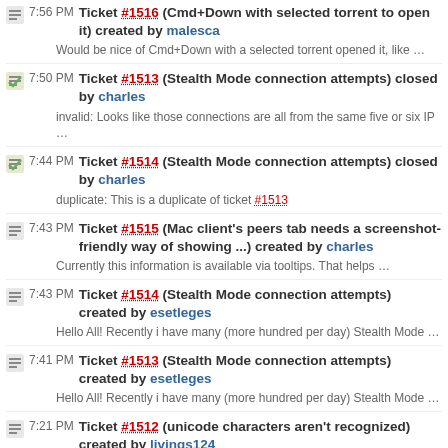7:56 PM Ticket #1516 (Cmd+Down with selected torrent to open it) created by malesca
Would be nice of Cmd+Down with a selected torrent opened it, like …
7:50 PM Ticket #1513 (Stealth Mode connection attempts) closed by charles
invalid: Looks like those connections are all from the same five or six IP …
7:44 PM Ticket #1514 (Stealth Mode connection attempts) closed by charles
duplicate: This is a duplicate of ticket #1513
7:43 PM Ticket #1515 (Mac client's peers tab needs a screenshot-friendly way of showing ...) created by charles
Currently this information is available via tooltips. That helps …
7:43 PM Ticket #1514 (Stealth Mode connection attempts) created by esetleges
Hello All! Recently i have many (more hundred per day) Stealth Mode …
7:41 PM Ticket #1513 (Stealth Mode connection attempts) created by esetleges
Hello All! Recently i have many (more hundred per day) Stealth Mode …
7:21 PM Ticket #1512 (unicode characters aren't recognized) created by livings124
http://forum.transmissionbt.com/viewtopic.php?f=2&t=6502 Multiple …
7:05 PM Ticket #1511 (leechers detection and general improvement) closed by charles